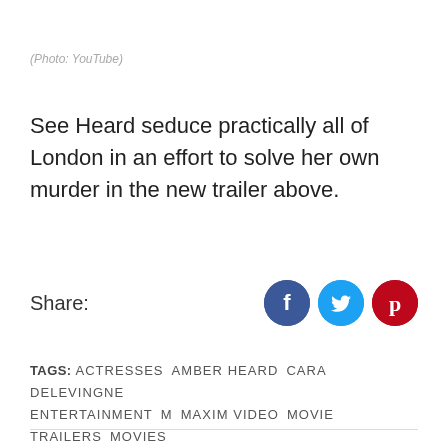(Photo: YouTube)
See Heard seduce practically all of London in an effort to solve her own murder in the new trailer above.
Share:
[Figure (infographic): Social share buttons: Facebook (blue circle with f), Twitter (light blue circle with bird), Pinterest (dark red circle with P)]
TAGS: ACTRESSES  AMBER HEARD  CARA DELEVINGNE  ENTERTAINMENT  M  MAXIM VIDEO  MOVIE TRAILERS  MOVIES  SEXY  WOMEN